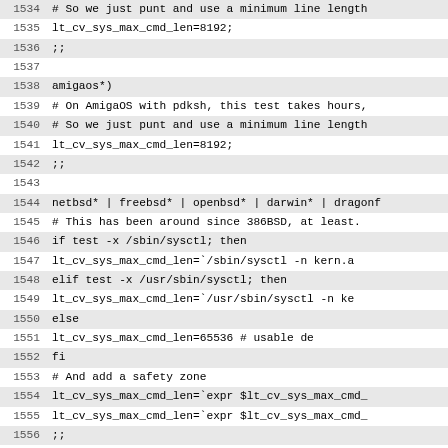Source code listing lines 1534-1565, shell script case statement handling lt_cv_sys_max_cmd_len for various operating systems including amigaos, netbsd/freebsd/openbsd/darwin/dragonfly, interix, and osf.